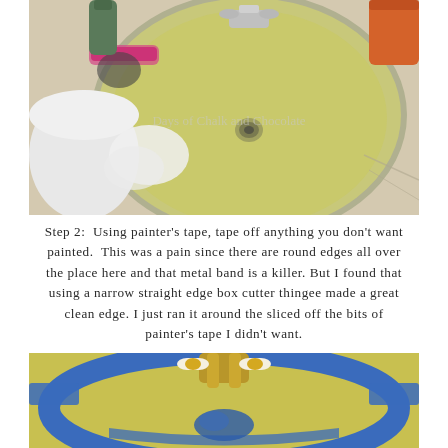[Figure (photo): Top-down view of a yellow bathroom sink with chrome faucet, cleaning supplies, hairbrush, and a white rag around the basin edge. Watermark reads 'Days of Chalk and Chocolate'.]
Step 2:  Using painter's tape, tape off anything you don't want painted.  This was a pain since there are round edges all over the place here and that metal band is a killer. But I found that using a narrow straight edge box cutter thingee made a great clean edge. I just ran it around the sliced off the bits of painter's tape I didn't want.
[Figure (photo): Yellow bathroom sink with blue painter's tape applied around the faucet area and rim, with gold-toned faucet handles visible.]